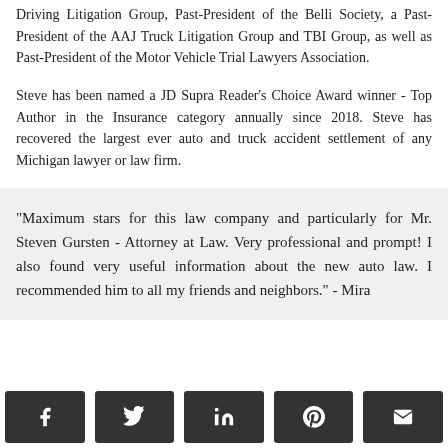Driving Litigation Group, Past-President of the Belli Society, a Past-President of the AAJ Truck Litigation Group and TBI Group, as well as Past-President of the Motor Vehicle Trial Lawyers Association.
Steve has been named a JD Supra Reader's Choice Award winner - Top Author in the Insurance category annually since 2018. Steve has recovered the largest ever auto and truck accident settlement of any Michigan lawyer or law firm.
"Maximum stars for this law company and particularly for Mr. Steven Gursten - Attorney at Law. Very professional and prompt! I also found very useful information about the new auto law. I recommended him to all my friends and neighbors." - Mira
[Figure (other): Social share buttons: Facebook, Twitter, LinkedIn, Pinterest, Email]